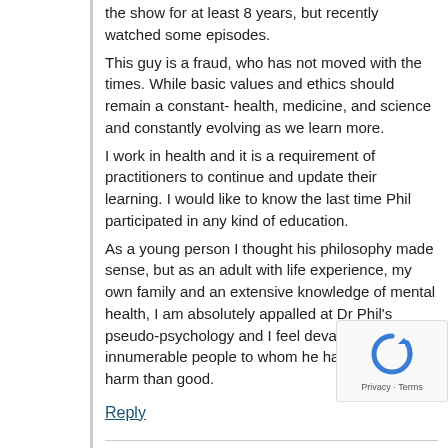the show for at least 8 years, but recently watched some episodes.
This guy is a fraud, who has not moved with the times. While basic values and ethics should remain a constant- health, medicine, and science and constantly evolving as we learn more.
I work in health and it is a requirement of practitioners to continue and update their learning. I would like to know the last time Phil participated in any kind of education.
As a young person I thought his philosophy made sense, but as an adult with life experience, my own family and an extensive knowledge of mental health, I am absolutely appalled at Dr Phil's pseudo-psychology and I feel devastated for the innumerable people to whom he has done more harm than good.
Reply
Laurie says:
June 29, 2021 at 8:05